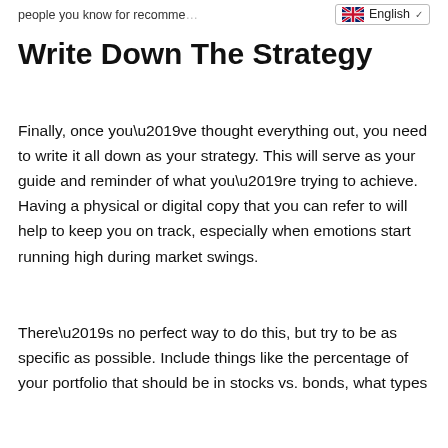people you know for recomme... English
Write Down The Strategy
Finally, once you’ve thought everything out, you need to write it all down as your strategy. This will serve as your guide and reminder of what you’re trying to achieve. Having a physical or digital copy that you can refer to will help to keep you on track, especially when emotions start running high during market swings.
There’s no perfect way to do this, but try to be as specific as possible. Include things like the percentage of your portfolio that should be in stocks vs. bonds, what types